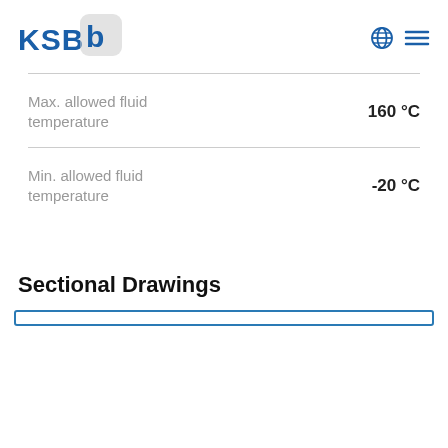KSB logo with globe and menu icons
| Max. allowed fluid temperature | 160 °C |
| Min. allowed fluid temperature | -20 °C |
Sectional Drawings